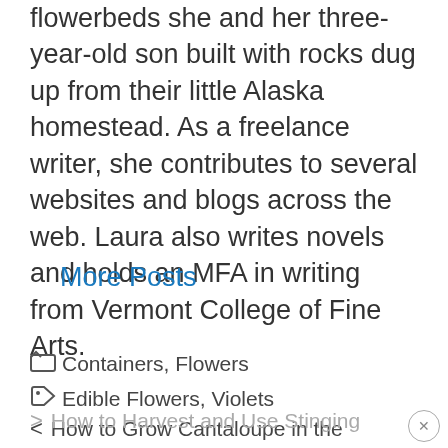flowerbeds she and her three-year-old son built with rocks dug up from their little Alaska homestead. As a freelance writer, she contributes to several websites and blogs across the web. Laura also writes novels and holds an MFA in writing from Vermont College of Fine Arts.
More Posts
Containers, Flowers
Edible Flowers, Violets
< How to Grow Cantaloupe in the Garden
> How to Harvest and Use Stinging